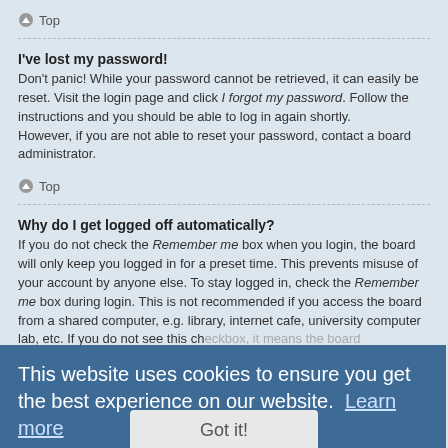Top
I've lost my password!
Don't panic! While your password cannot be retrieved, it can easily be reset. Visit the login page and click I forgot my password. Follow the instructions and you should be able to log in again shortly.
However, if you are not able to reset your password, contact a board administrator.
Top
Why do I get logged off automatically?
If you do not check the Remember me box when you login, the board will only keep you logged in for a preset time. This prevents misuse of your account by anyone else. To stay logged in, check the Remember me box during login. This is not recommended if you access the board from a shared computer, e.g. library, internet cafe, university computer lab, etc. If you do not see this checkbox, it means the board administrator has disabled this feature.
What does the "Delete cookies" do?
"Delete cookies" deletes the cookies created by phpBB which keep you authenticated and logged into the board. Cookies also provide functions such as read tracking if they have been enabled by a board administrator. If you are
This website uses cookies to ensure you get the best experience on our website.  Learn more
Got it!